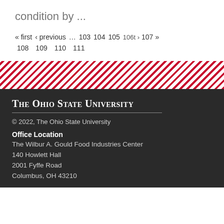condition by ...
« first ‹ previous … 103 104 105 106t › 107 » 108 109 110 111
[Figure (other): Red and white diagonal stripe decorative divider band]
The Ohio State University
© 2022, The Ohio State University
Office Location
The Wilbur A. Gould Food Industries Center
140 Howlett Hall
2001 Fyffe Road
Columbus, OH 43210